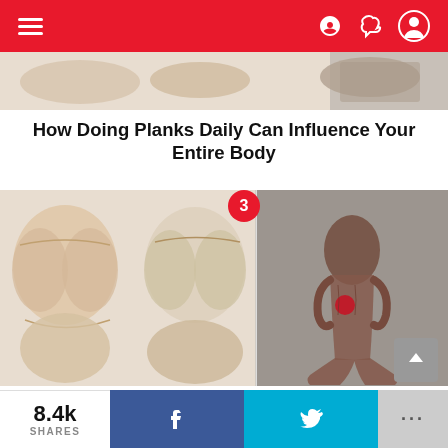Navigation header with menu icon and user icons
[Figure (illustration): Partial fitness illustration showing exercise sketches at top of page]
How Doing Planks Daily Can Influence Your Entire Body
[Figure (illustration): Fitness images: pencil sketches of buttocks exercises on left, anatomical muscle diagram of woman squatting on right, with red badge number 3]
The 28-Day Squat Challenge To A Completely New Booty
[Figure (illustration): Partial fitness image at bottom with green background, red badge number 4]
8.4k SHARES | Facebook share | Twitter share | More options